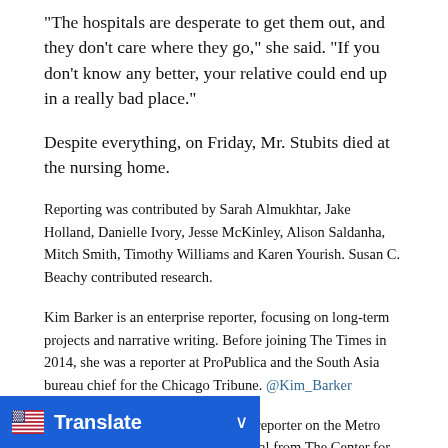“The hospitals are desperate to get them out, and they don’t care where they go,” she said. “If you don’t know any better, your relative could end up in a really bad place.”
Despite everything, on Friday, Mr. Stubits died at the nursing home.
Reporting was contributed by Sarah Almukhtar, Jake Holland, Danielle Ivory, Jesse McKinley, Alison Saldanha, Mitch Smith, Timothy Williams and Karen Yourish. Susan C. Beachy contributed research.
Kim Barker is an enterprise reporter, focusing on long-term projects and narrative writing. Before joining The Times in 2014, she was a reporter at ProPublica and the South Asia bureau chief for the Chicago Tribune. @Kim_Barker
Amy Julia Harris is an investigative reporter on the Metro desk. She previously worked at Reveal from The Center for Investigative ... t on drug rehab programs that require